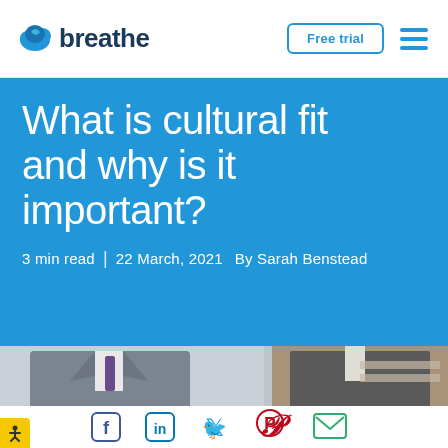breathe — Free trial
What is cultural fit and why is it important?
3 min read  |  22 March, 2021  By Sarah Benstead
[Figure (photo): Photo of two people in business suits, cropped at chest level]
[Figure (other): Social sharing icons: Facebook, LinkedIn, Twitter, Pinterest, Email]